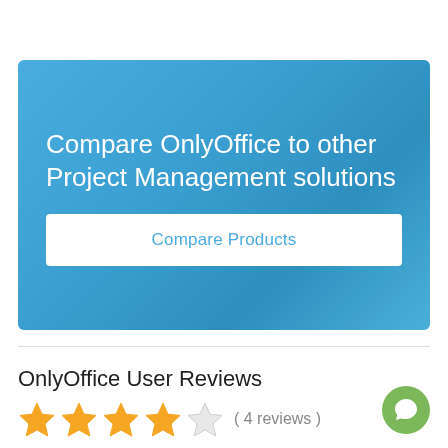[Figure (screenshot): Blue banner with heading 'Compare OnlyOffice to other Project Management solutions' and a white button labeled 'Compare Products']
OnlyOffice User Reviews
[Figure (other): 4-star rating with 4 filled/partial gold stars and text '( 4 reviews )']